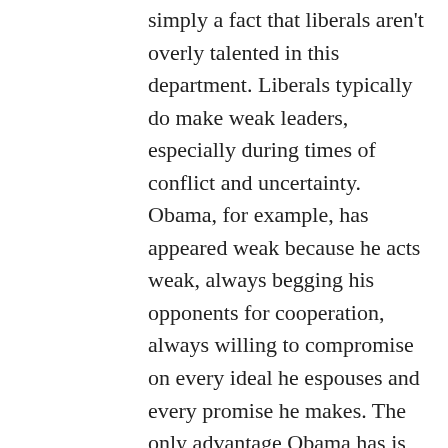simply a fact that liberals aren't overly talented in this department. Liberals typically do make weak leaders, especially during times of conflict and uncertainty. Obama, for example, has appeared weak because he acts weak, always begging his opponents for cooperation, always willing to compromise on every ideal he espouses and every promise he makes. The only advantage Obama has is that his pathetically weak liberal leadership is refreshing after the massive failures of the conservative style of strong leadership.